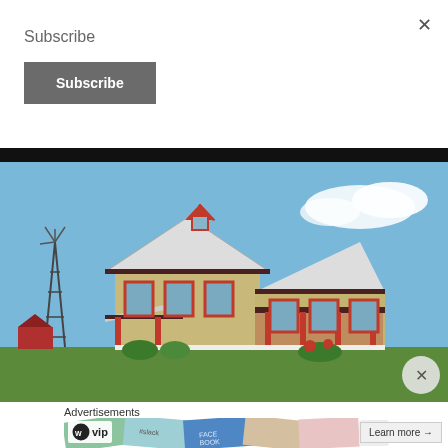Subscribe
Subscribe
[Figure (photo): A two-story farmhouse with tan/beige stone exterior and red trim details, metal roof, red porch columns. A windmill tower visible on the left. Blue sky with scattered clouds. Green grass in foreground.]
Advertisements
[Figure (screenshot): Advertisement banner showing WordPress VIP logo and overlapping credit card-like tiles with brand names (Slack, Facebook) and a 'Learn more' button with arrow.]